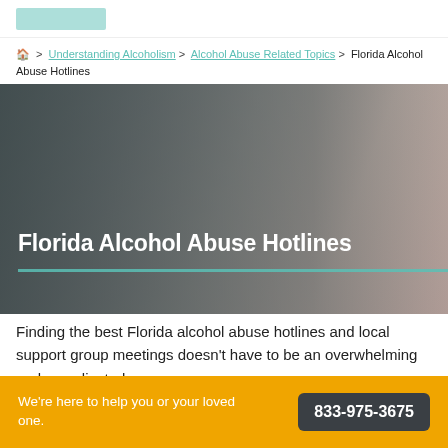[Baptist Health logo]
🏠 > Understanding Alcoholism > Alcohol Abuse Related Topics > Florida Alcohol Abuse Hotlines
[Figure (photo): Close-up of a woman wearing a headset/microphone, blurred background in grey tones, overlaid with dark tint on left side. Title 'Florida Alcohol Abuse Hotlines' in bold white text with a teal horizontal line underneath.]
Finding the best Florida alcohol abuse hotlines and local support group meetings doesn't have to be an overwhelming and complicated process.
We're here to help you or your loved one.  833-975-3675